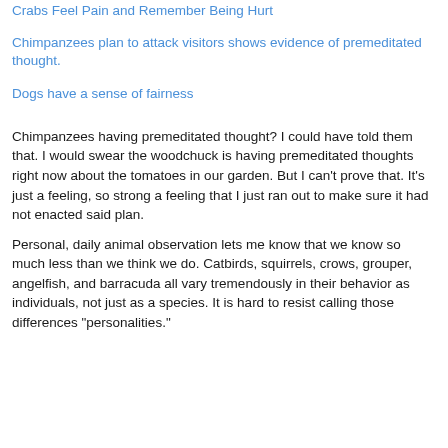Crabs Feel Pain and Remember Being Hurt
Chimpanzees plan to attack visitors shows evidence of premeditated thought.
Dogs have a sense of fairness
Chimpanzees having premeditated thought? I could have told them that. I would swear the woodchuck is having premeditated thoughts right now about the tomatoes in our garden. But I can't prove that. It's just a feeling, so strong a feeling that I just ran out to make sure it had not enacted said plan.
Personal, daily animal observation lets me know that we know so much less than we think we do. Catbirds, squirrels, crows, grouper, angelfish, and barracuda all vary tremendously in their behavior as individuals, not just as a species. It is hard to resist calling those differences "personalities."